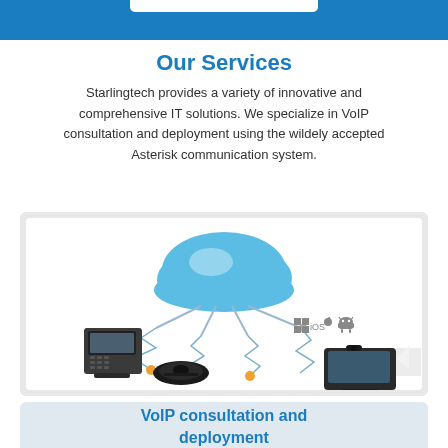Our Services
Starlingtech provides a variety of innovative and comprehensive IT solutions. We specialize in VoIP consultation and deployment using the wildely accepted Asterisk communication system.
[Figure (illustration): VoIP cloud networking diagram showing a blue cloud icon connected via cables to a desk phone, a conference speaker device, a laptop/tablet with camera, and mobile/iOS/Android device icons (Windows, iOS Apple, Android).]
VoIP consultation and deployment